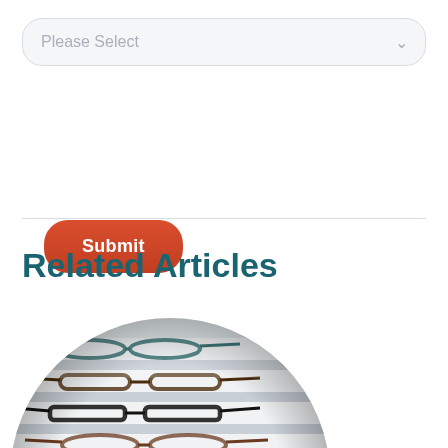Please Select
Submit
Related Articles
[Figure (photo): A circular cropped photo showing multiple pairs of eyeglasses displayed on a white retail display stand, photographed from an angle showing rows of frames including black, brown, and purple eyeglass frames.]